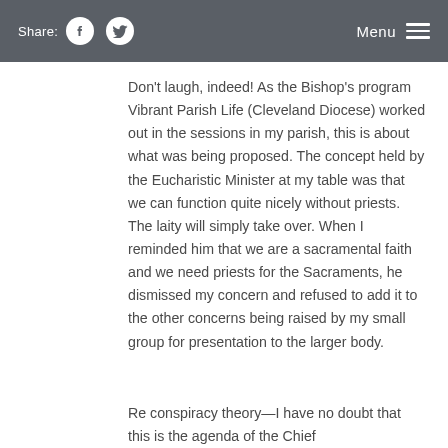Share: [Facebook] [Twitter]   Menu
Don't laugh, indeed!  As the Bishop's program Vibrant Parish Life (Cleveland Diocese) worked out in the sessions in my parish, this is about what was being proposed.  The concept held by the Eucharistic Minister at my table was that we can function quite nicely without priests.  The laity will simply take over.  When I reminded him that we are a sacramental faith and we need priests for the Sacraments, he dismissed my concern and refused to add it to the other concerns being raised by my small group for presentation to the larger body.
Re conspiracy theory—I have no doubt that this is the agenda of the Chief...